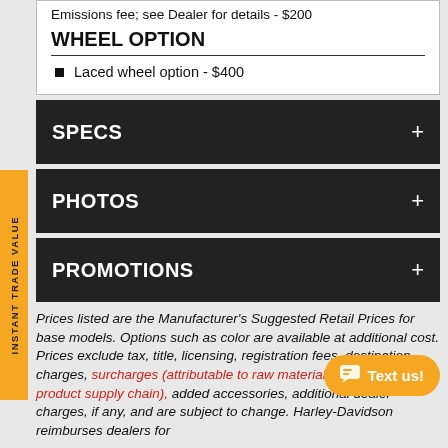Emissions fee; see Dealer for details - $200
WHEEL OPTION
Laced wheel option - $400
SPECS +
PHOTOS +
PROMOTIONS +
Prices listed are the Manufacturer's Suggested Retail Prices for base models. Options such as color are available at additional cost. Prices exclude tax, title, licensing, registration fees, destination charges, surcharges (attributable to raw materials costs in the product supply chain), added accessories, additional dealer charges, if any, and are subject to change. Harley-Davidson reimburses dealers for